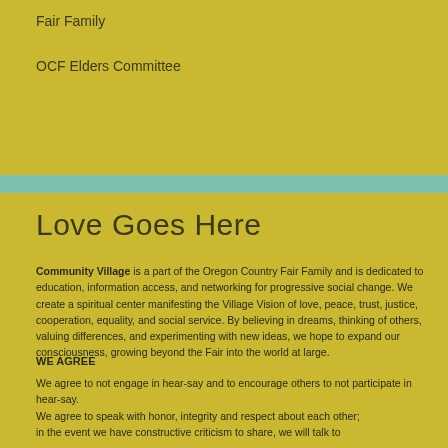Fair Family
OCF Elders Committee
Love Goes Here
Community Village is a part of the Oregon Country Fair Family and is dedicated to education, information access, and networking for progressive social change. We create a spiritual center manifesting the Village Vision of love, peace, trust, justice, cooperation, equality, and social service. By believing in dreams, thinking of others, valuing differences, and experimenting with new ideas, we hope to expand our consciousness, growing beyond the Fair into the world at large.
WE AGREE
We agree to not engage in hear-say and to encourage others to not participate in hear-say.
We agree to speak with honor, integrity and respect about each other;
in the event we have constructive criticism to share, we will talk to